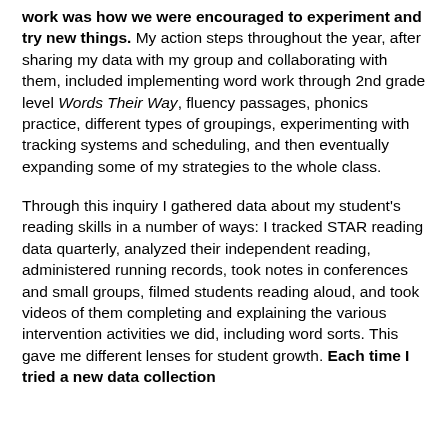work was how we were encouraged to experiment and try new things. My action steps throughout the year, after sharing my data with my group and collaborating with them, included implementing word work through 2nd grade level Words Their Way, fluency passages, phonics practice, different types of groupings, experimenting with tracking systems and scheduling, and then eventually expanding some of my strategies to the whole class.
Through this inquiry I gathered data about my student's reading skills in a number of ways: I tracked STAR reading data quarterly, analyzed their independent reading, administered running records, took notes in conferences and small groups, filmed students reading aloud, and took videos of them completing and explaining the various intervention activities we did, including word sorts. This gave me different lenses for student growth. Each time I tried a new data collection